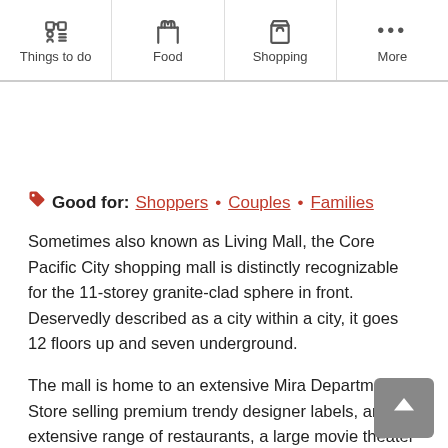Things to do | Food | Shopping | More
[Figure (screenshot): Empty white image area (placeholder for a photo)]
Good for: Shoppers • Couples • Families
Sometimes also known as Living Mall, the Core Pacific City shopping mall is distinctly recognizable for the 11-storey granite-clad sphere in front. Deservedly described as a city within a city, it goes 12 floors up and seven underground.
The mall is home to an extensive Mira Department Store selling premium trendy designer labels, an extensive range of restaurants, a large movie theater and 1,650 sqm of floor space devoted to pamporing